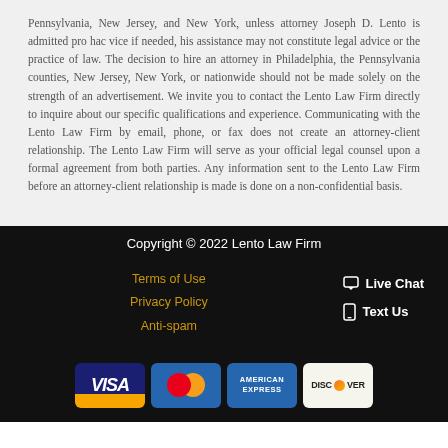Pennsylvania, New Jersey, and New York, unless attorney Joseph D. Lento is admitted pro hac vice if needed, his assistance may not constitute legal advice or the practice of law. The decision to hire an attorney in Philadelphia, the Pennsylvania counties, New Jersey, New York, or nationwide should not be made solely on the strength of an advertisement. We invite you to contact the Lento Law Firm directly to inquire about our specific qualifications and experience. Communicating with the Lento Law Firm by email, phone, or fax does not create an attorney-client relationship. The Lento Law Firm will serve as your official legal counsel upon a formal agreement from both parties. Any information sent to the Lento Law Firm before an attorney-client relationship is made is done on a non-confidential basis.
Copyright © 2022 Lento Law Firm
Terms of Use
Privacy Policy
Anti-spam
Live Chat
Text Us